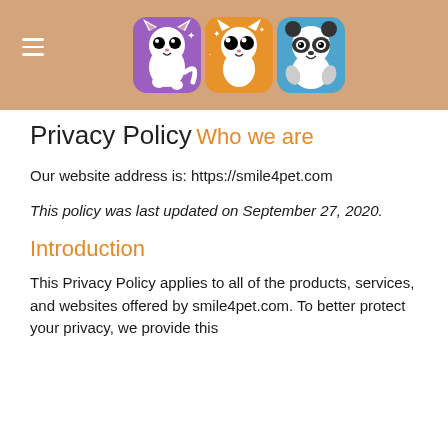[Figure (illustration): Website header bar with tan/beige background. Three cute kawaii pet character cards (cat on purple background, cat/dog on orange background, panda on blue background) centered in the header. Hamburger menu icon (three horizontal lines) on the left side.]
Privacy Policy
Who we are
Our website address is: https://smile4pet.com
This policy was last updated on September 27, 2020.
Introduction
This Privacy Policy applies to all of the products, services, and websites offered by smile4pet.com. To better protect your privacy, we provide this